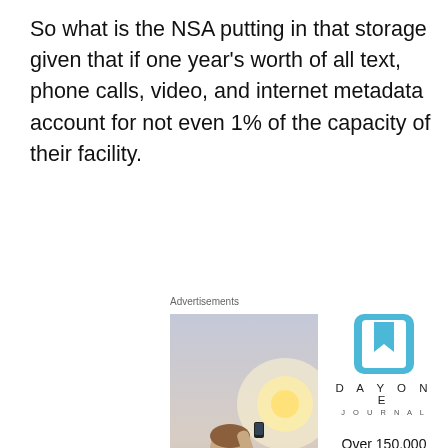So what is the NSA putting in that storage given that if one year's worth of all text, phone calls, video, and internet metadata account for not even 1% of the capacity of their facility.
Advertisements
[Figure (photo): Person photographing sunset with smartphone, viewed from behind]
[Figure (logo): Day One Journal app logo and branding with text 'Over 150,000 5-star reviews']
Privacy & Cookies: This site uses cookies. By continuing to use this website, you agree to their use.
To find out more, including how to control cookies, see here: Cookie Policy
Close and accept